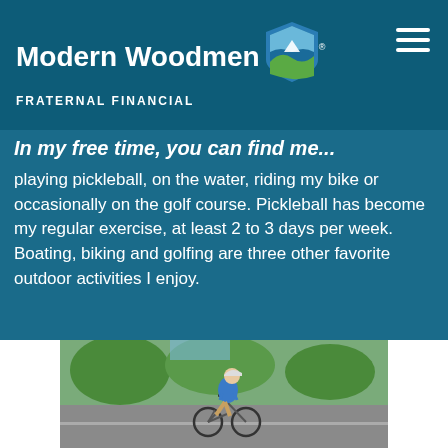Modern Woodmen FRATERNAL FINANCIAL
In my free time, you can find me...
playing pickleball, on the water, riding my bike or occasionally on the golf course. Pickleball has become my regular exercise, at least 2 to 3 days per week. Boating, biking and golfing are three other favorite outdoor activities I enjoy.
[Figure (photo): Man in blue shirt and white cap riding a bicycle on a paved path, with green trees in the background. Photo is centered with white panels on either side.]